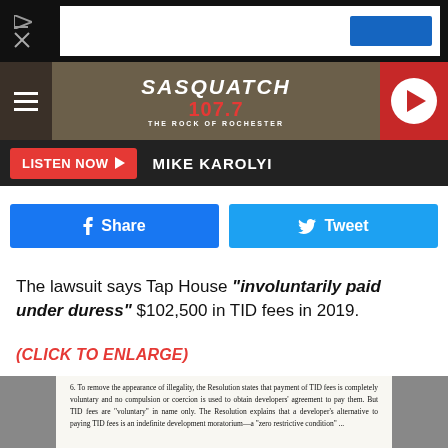[Figure (screenshot): Ad banner with play button on dark background]
[Figure (logo): Sasquatch 107.7 The Rock of Rochester radio station header with hamburger menu and red play button]
[Figure (screenshot): Listen Now button bar with Mike Karolyi text]
[Figure (screenshot): Facebook Share and Twitter Tweet social buttons]
The lawsuit says Tap House "involuntarily paid under duress" $102,500 in TID fees in 2019.
(CLICK TO ENLARGE)
[Figure (screenshot): Document excerpt: '6. To remove the appearance of illegality, the Resolution states that payment of TID fees is completely voluntary and no compulsion or coercion is used to obtain developers' agreement to pay them. But TID fees are "voluntary" in name only. The Resolution explains that a developer's alternative to paying TID fees is an indefinite development moratorium—a "zero restrictive condition" ...']